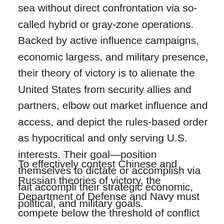sea without direct confrontation via so-called hybrid or gray-zone operations. Backed by active influence campaigns, economic largess, and military presence, their theory of victory is to alienate the United States from security allies and partners, elbow out market influence and access, and depict the rules-based order as hypocritical and only serving U.S. interests. Their goal—position themselves to dictate or accomplish via fait accompli their strategic economic, political, and military goals.
To effectively contest Chinese and Russian theories of victory, the Department of Defense and Navy must compete below the threshold of conflict to confound Xi's and Putin's strategic calculus. To deny them victories without firing a shot, the Navy